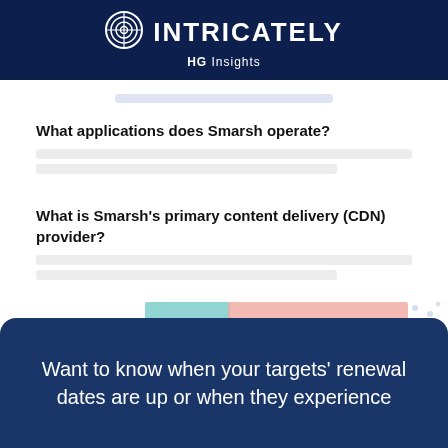INTRICATELY HG Insights
What applications does Smarsh operate?
[blurred answer text]
What is Smarsh's primary content delivery (CDN) provider?
[blurred answer text]
[Figure (other): Partial chart strip with teal and pink/salmon colored sections visible at bottom of page]
Want to know when your targets' renewal dates are up or when they experience